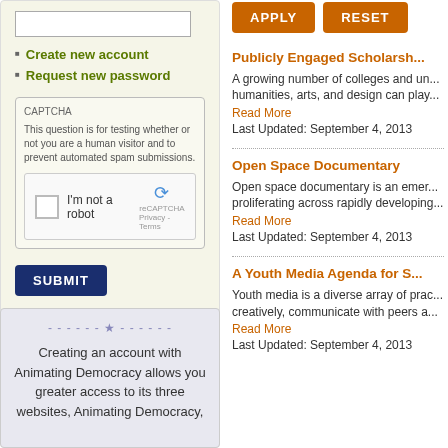[Figure (screenshot): Text input box (login field)]
Create new account
Request new password
[Figure (screenshot): CAPTCHA section with reCAPTCHA widget saying 'I'm not a robot']
[Figure (screenshot): SUBMIT button (dark blue)]
Creating an account with Animating Democracy allows you greater access to its three websites, Animating Democracy,
[Figure (screenshot): APPLY and RESET buttons (orange)]
Publicly Engaged Scholarsh...
A growing number of colleges and un... humanities, arts, and design can play...
Read More
Last Updated: September 4, 2013
Open Space Documentary
Open space documentary is an emer... proliferating across rapidly developing...
Read More
Last Updated: September 4, 2013
A Youth Media Agenda for S...
Youth media is a diverse array of prac... creatively, communicate with peers a...
Read More
Last Updated: September 4, 2013